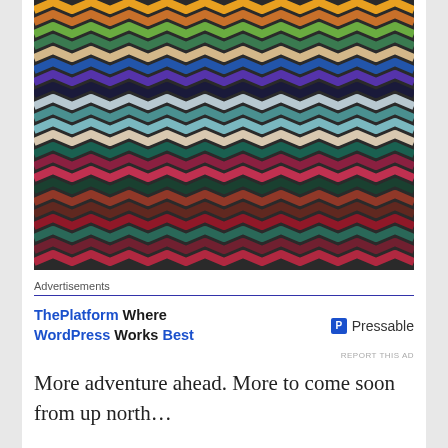[Figure (photo): Close-up photograph of a colorful chevron/ripple crochet blanket showing diagonal zigzag rows in multiple colors including teal, blue, purple, orange, yellow, green, red, and brown tones.]
Advertisements
[Figure (other): Advertisement for Pressable: 'ThePlatform Where WordPress Works Best' with Pressable logo on the right.]
REPORT THIS AD
More adventure ahead. More to come soon from up north…